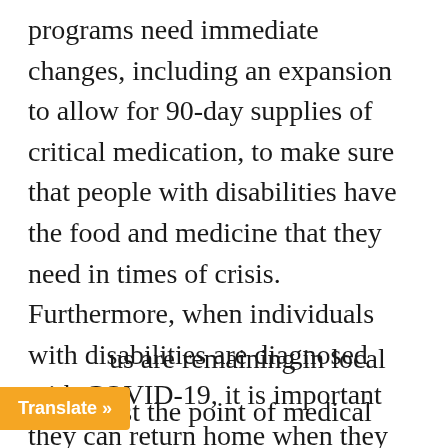programs need immediate changes, including an expansion to allow for 90-day supplies of critical medication, to make sure that people with disabilities have the food and medicine that they need in times of crisis. Furthermore, when individuals with disabilities are diagnosed with COVID-19, it is important they can return home when they no longer require hospitalization. In New York, for example. “developmentally disabled patients with the novel …us are remaining in local …ast the point of medical
Translate »